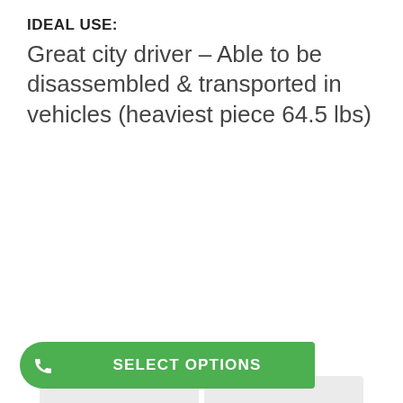IDEAL USE:
Great city driver – Able to be disassembled & transported in vehicles (heaviest piece 64.5 lbs)
[Figure (infographic): Four spec cards in a 2x2 grid: Top Speed 8.3 KM/H with speedometer icon, Drive Range 21.7 KMS* with battery icon, Total Weight 187 LBS. with weight icon, Capacity 400 LBS. with person icon]
SELECT OPTIONS